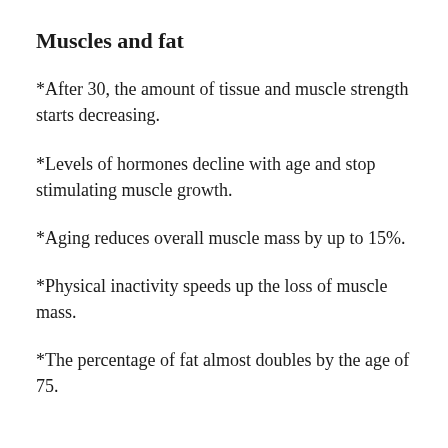Muscles and fat
*After 30, the amount of tissue and muscle strength starts decreasing.
*Levels of hormones decline with age and stop stimulating muscle growth.
*Aging reduces overall muscle mass by up to 15%.
*Physical inactivity speeds up the loss of muscle mass.
*The percentage of fat almost doubles by the age of 75.